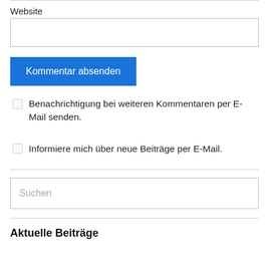Website
Kommentar absenden
Benachrichtigung bei weiteren Kommentaren per E-Mail senden.
Informiere mich über neue Beiträge per E-Mail.
Suchen
Aktuelle Beiträge